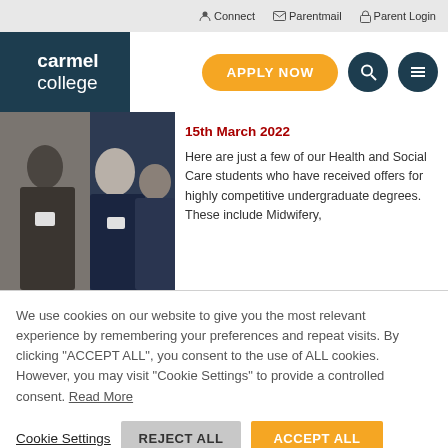Connect | Parentmail | Parent Login
carmel college
APPLY NOW
[Figure (photo): Group of students wearing lanyards/ID badges]
15th March 2022
Here are just a few of our Health and Social Care students who have received offers for highly competitive undergraduate degrees. These include Midwifery,
We use cookies on our website to give you the most relevant experience by remembering your preferences and repeat visits. By clicking “ACCEPT ALL”, you consent to the use of ALL cookies. However, you may visit "Cookie Settings" to provide a controlled consent. Read More
Cookie Settings | REJECT ALL | ACCEPT ALL